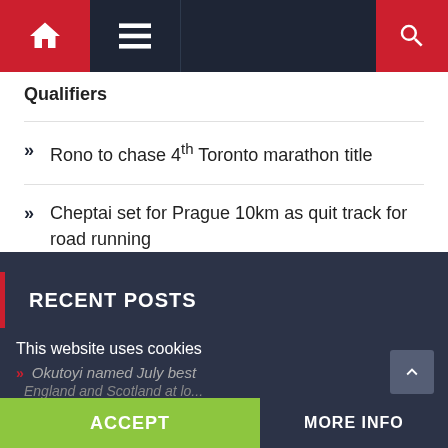Navigation bar with home, menu, and search icons
Qualifiers
Rono to chase 4th Toronto marathon title
Cheptai set for Prague 10km as quit track for road running
Kipruto and Chepng'etich to lead Kenyans at Chicago marathon
RECENT POSTS
Okutoyi named July best
This website uses cookies
England and Scotland at lo...
ACCEPT
MORE INFO